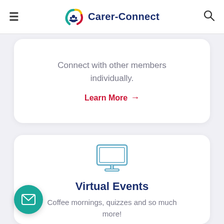Carer-Connect
Connect with other members individually.
Learn More →
[Figure (illustration): Line art icon of a desktop computer monitor with a stand]
Virtual Events
Coffee mornings, quizzes and so much more!
[Figure (illustration): Floating teal circular button with a white envelope/mail icon]